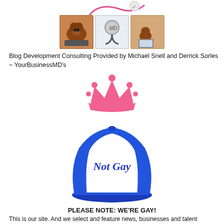[Figure (photo): Partial logo/banner at top of page]
[Figure (photo): Three images of dogs and a stethoscope/medical scene and dog at laptop]
Blog Development Consulting Provided by Michael Snell and Derrick Sorles ~ YourBusinessMD's
[Figure (illustration): Pink crown illustration]
[Figure (photo): Blue trucker hat with 'Not Gay' text on white front panel]
PLEASE NOTE: WE'RE GAY!
This is our site. And we select and feature news, businesses and talent